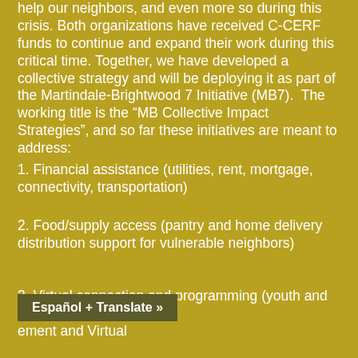help our neighbors, and even more so during this crisis. Both organizations have received C-CERF funds to continue and expand their work during this critical time. Together, we have developed a collective strategy and will be deploying it as part of the Martindale-Brightwood 7 Initiative (MB7). The working title is the “MB Collective Impact Strategies”, and so far these initiatives are meant to address:
1. Financial assistance (utilities, rent, mortgage, connectivity, transportation)
2. Food/supply access (pantry and home delivery distribution support for vulnerable neighbors)
3. Virtual connection and programming (youth and seniors)
Español + Translate »
ement and Virtual